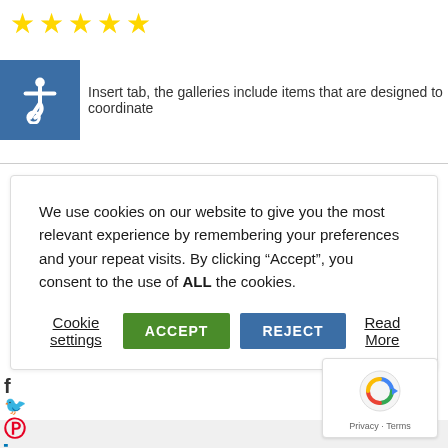[Figure (illustration): Five yellow star rating icons in a row]
[Figure (illustration): Blue square accessibility icon with wheelchair symbol, followed by partial text: Insert tab, the galleries include items that are designed to coordinate]
We use cookies on our website to give you the most relevant experience by remembering your preferences and your repeat visits. By clicking “Accept”, you consent to the use of ALL the cookies.
Cookie settings   ACCEPT   REJECT   Read More
[Figure (illustration): Social media icons partially visible on left: f (Facebook), Twitter bird, Pinterest, LinkedIn 'in']
[Figure (illustration): Google reCAPTCHA badge with spinning arrow icon and text 'Privacy - Terms']